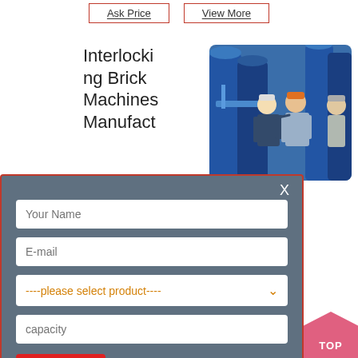Ask Price   View More
Interlocking Brick Machines Manufact...
[Figure (photo): Two workers in hard hats inspecting industrial equipment with blue tanks/cylinders in a factory]
nd Trader of ines, Interlocking Pradesh, India. nd Inquiry · View Details Interlocking Concrete Blocks · Interlocking
[Figure (screenshot): Modal dialog with form fields: Your Name, E-mail, product dropdown selector, capacity input, and SUBMIT button on dark blue-grey background with red border]
Ask Price   View More
TOP